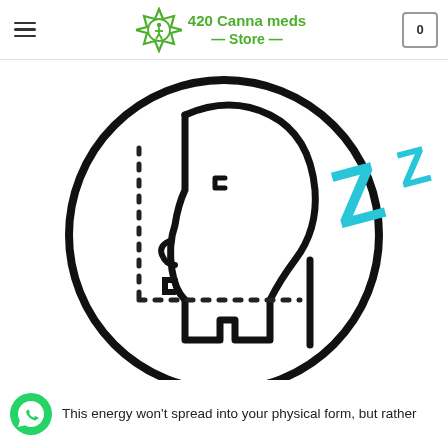420 Canna meds Store
[Figure (illustration): A stylized icon of a human head profile in side view (facing right) with a dotted border square on the left side of the brain area. Inside the head are two cyan/turquoise lightning bolt 'Z' sleep symbols floating above. The head silhouette is drawn in thick black outlines on a white background. The overall image is contained within a large circle. This represents sleep or drowsiness.]
This energy won't spread into your physical form, but rather